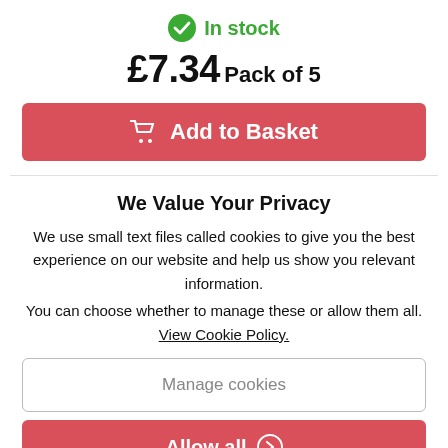In stock
£7.34 Pack of 5
Add to Basket
We Value Your Privacy
We use small text files called cookies to give you the best experience on our website and help us show you relevant information.
You can choose whether to manage these or allow them all.
View Cookie Policy.
Manage cookies
Allow all